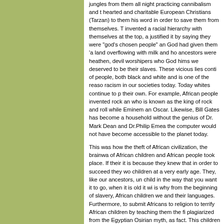jungles from them all night practicing cannibalism and then hearted and charitable European Christians (Tarzan) to give them his word in order to save them from themselves. They invented a racial hierarchy with themselves at the top, and justified it by saying they were "god's chosen people" and God had given them 'a land overflowing with milk and honey, ancestors were heathen, devil worshipers who God himself we deserved to be their slaves. These vicious lies continue of people, both black and white and is one of the reasons racism in our societies today. Today whites continue to p their own. For example, African people invented rock and who is known as the king of rock and roll while Eminem an Oscar. Likewise, Bill Gates has become a household without the genius of Dr. Mark Dean and Dr.Philip Emea the computer would not have become accessible to the planet today.
This was how the theft of African civilization, the brainwa of African children and African people took place. If their it is because they knew that in order to succeed they wo children at a very early age. They, like our ancestors, un child in the way that you want it to go, when it is old it wi is why from the beginning of slavery, African children we and their languages. Furthermore, to submit Africans to religion to terrify African children by teaching them the fi plagiarized from the Egyptian Osirian myth, as fact. This children a life of suffering (hell) if they were disobedient master, not a supreme being as many black people mist wealth after death if they obeyed.(paradise)
The real tragedy is that this distorted African story that g were forced to memorize, continue to be taken literally b around the globe, who have spent their entire lives waiti named Jesus Christ to burst through the clouds and deli tragic irony is that today it is African people, the victims, which was forcefully imposed upon our children during s fanatical adherents in contrast to their oppressors own p stopped believing in this myth. Reparations can never e